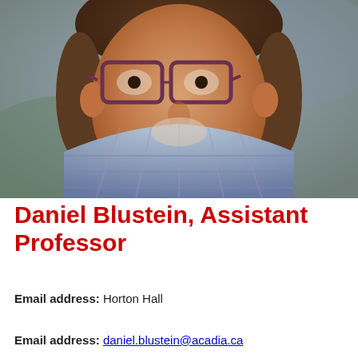[Figure (photo): Headshot photo of Daniel Blustein, a smiling man with glasses and stubble beard, wearing a plaid shirt]
Daniel Blustein, Assistant Professor
Email address: Horton Hall
Email address: daniel.blustein@acadia.ca